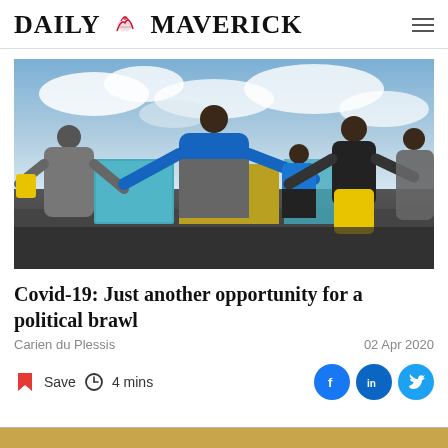DAILY MAVERICK
[Figure (photo): Group of people standing in a line outdoors with arms extended, in front of colourful shipping containers under a cloudy sky. Person in center wears blue hoodie, another wears yellow pants.]
Covid-19: Just another opportunity for a political brawl
Carien du Plessis
02 Apr 2020
Save  4 mins